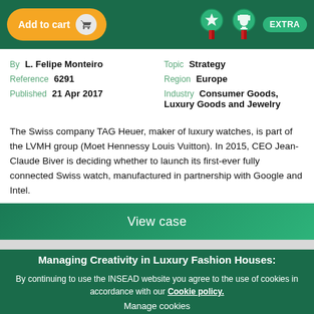[Figure (screenshot): Top navigation bar with Add to cart button (orange), star medal icon, trophy medal icon (both with red ribbons), and EXTRA badge (green) on dark green background]
By L. Felipe Monteiro
Reference 6291
Published 21 Apr 2017
Topic Strategy
Region Europe
Industry Consumer Goods, Luxury Goods and Jewelry
The Swiss company TAG Heuer, maker of luxury watches, is part of the LVMH group (Moet Hennessy Louis Vuitton). In 2015, CEO Jean-Claude Biver is deciding whether to launch its first-ever fully connected Swiss watch, manufactured in partnership with Google and Intel.
View case
Managing Creativity in Luxury Fashion Houses:
By continuing to use the INSEAD website you agree to the use of cookies in accordance with our Cookie policy.
Manage cookies